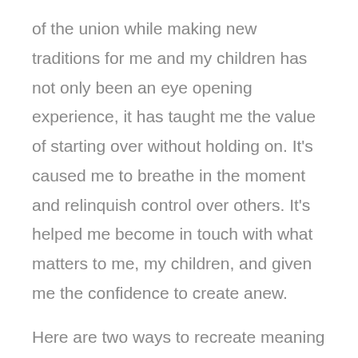of the union while making new traditions for me and my children has not only been an eye opening experience, it has taught me the value of starting over without holding on. It's caused me to breathe in the moment and relinquish control over others. It's helped me become in touch with what matters to me, my children, and given me the confidence to create anew.
Here are two ways to recreate meaning and traditions even when it's hard.
1. Practice gratitude. You've been given the gift of starting over and no matter how